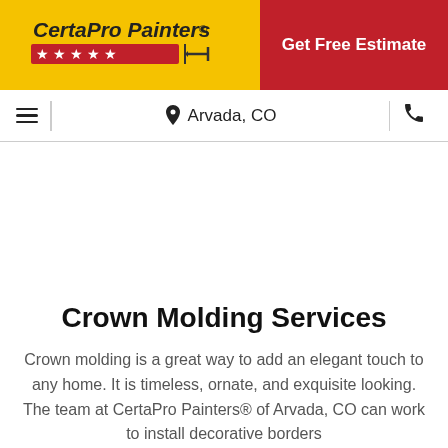[Figure (logo): CertaPro Painters logo on yellow background with red star banner and painter icon]
Get Free Estimate
≡  📍 Arvada, CO  📞
[Figure (photo): White/blank image area (image not loaded)]
Crown Molding Services
Crown molding is a great way to add an elegant touch to any home. It is timeless, ornate, and exquisite looking. The team at CertaPro Painters® of Arvada, CO can work to install decorative borders